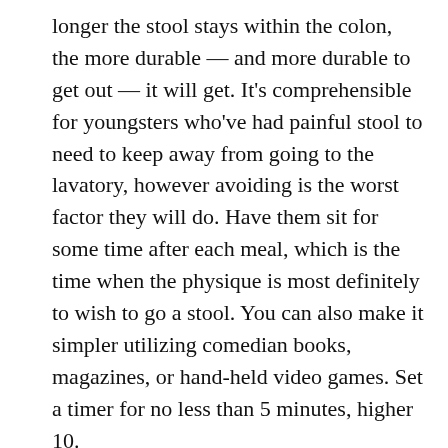longer the stool stays within the colon, the more durable — and more durable to get out — it will get. It's comprehensible for youngsters who've had painful stool to need to keep away from going to the lavatory, however avoiding is the worst factor they will do. Have them sit for some time after each meal, which is the time when the physique is most definitely to wish to go a stool. You can also make it simpler utilizing comedian books, magazines, or hand-held video games. Set a timer for no less than 5 minutes, higher 10.
If this doesn't work, strive medicines. There are a lot of completely different varieties of medicines that assist with constipation.